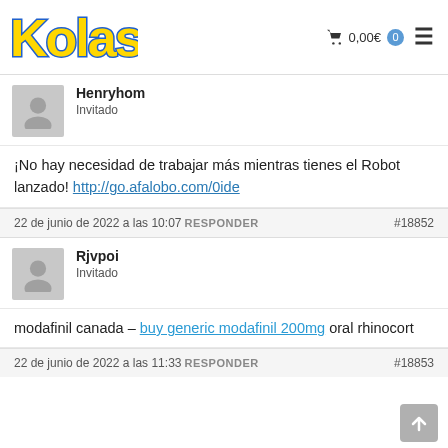[Figure (logo): Kolash website logo in yellow and blue style text]
Henryhom
Invitado
¡No hay necesidad de trabajar más mientras tienes el Robot lanzado! http://go.afalobo.com/0ide
22 de junio de 2022 a las 10:07 RESPONDER #18852
Rjvpoi
Invitado
modafinil canada – buy generic modafinil 200mg oral rhinocort
22 de junio de 2022 a las 11:33 RESPONDER #18853